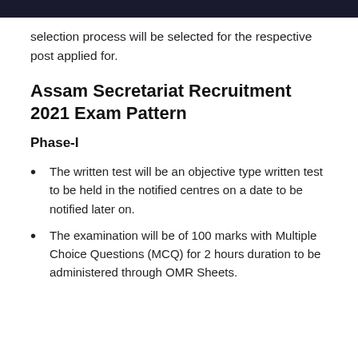selection process will be selected for the respective post applied for.
Assam Secretariat Recruitment 2021 Exam Pattern
Phase-I
The written test will be an objective type written test to be held in the notified centres on a date to be notified later on.
The examination will be of 100 marks with Multiple Choice Questions (MCQ) for 2 hours duration to be administered through OMR Sheets.